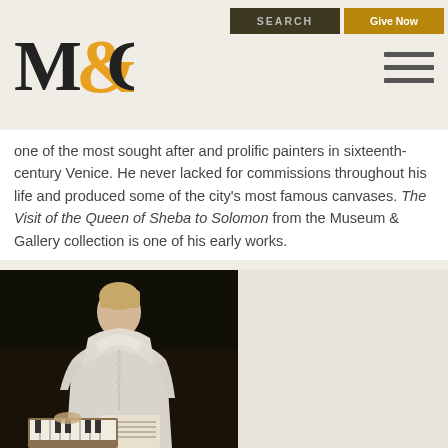M&G | SEARCH | Give Now
one of the most sought after and prolific painters in sixteenth-century Venice. He never lacked for commissions throughout his life and produced some of the city's most famous canvases. The Visit of the Queen of Sheba to Solomon from the Museum & Gallery collection is one of his early works.
[Figure (photo): Portrait painting of a young woman in a white dress seated at a keyboard instrument, holding sheet music, against a dark background.]